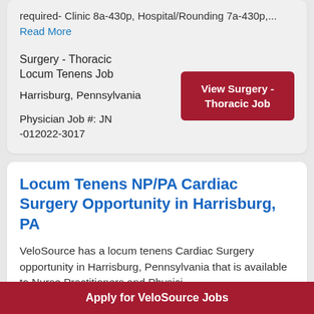required- Clinic 8a-430p, Hospital/Rounding 7a-430p,... Read More
Surgery - Thoracic Locum Tenens Job
Harrisburg, Pennsylvania
Physician Job #: JN -012022-3017
View Surgery - Thoracic Job
Locum Tenens NP/PA Cardiac Surgery Opportunity in Harrisburg, PA
VeloSource has a locum tenens Cardiac Surgery opportunity in Harrisburg, Pennsylvania that is available to Nurse Practitioners and Physicians...
Apply for VeloSource Jobs